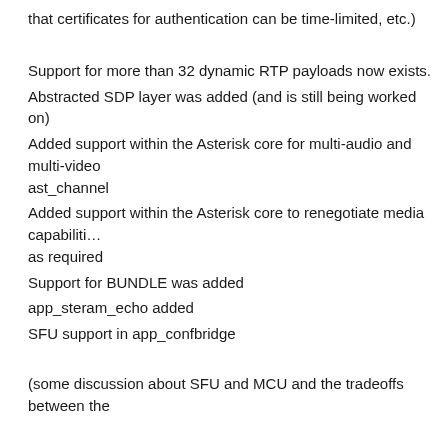that certificates for authentication can be time-limited, etc.)
Support for more than 32 dynamic RTP payloads now exists.
Abstracted SDP layer was added (and is still being worked on)
Added support within the Asterisk core for multi-audio and multi-video ast_channel
Added support within the Asterisk core to renegotiate media capabilities as required
Support for BUNDLE was added
app_steram_echo added
SFU support in app_confbridge
(some discussion about SFU and MCU and the tradeoffs between the
Project Background
Asterisk 11( LTS) was released in October of 2012